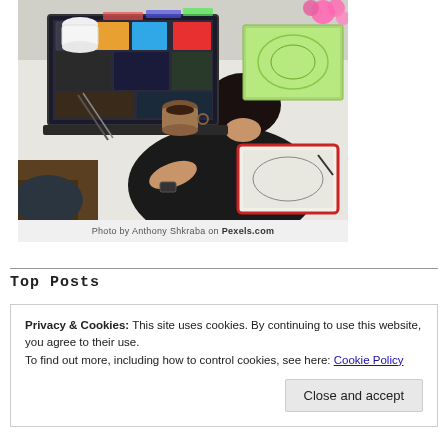[Figure (photo): Overhead view of a person with short dark hair and black t-shirt sitting at a white desk, drawing on a tablet with a stylus. A laptop showing design/art content is open in front. A coffee cup, colorful books, and pink flowers are on the desk.]
Photo by Anthony Shkraba on Pexels.com
Top Posts
Privacy & Cookies: This site uses cookies. By continuing to use this website, you agree to their use.
To find out more, including how to control cookies, see here: Cookie Policy